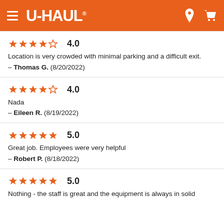U-HAUL
4.0 — Location is very crowded with minimal parking and a difficult exit. — Thomas G. (8/20/2022)
4.0 — Nada — Eileen R. (8/19/2022)
5.0 — Great job. Employees were very helpful — Robert P. (8/18/2022)
5.0 — Nothing - the staff is great and the equipment is always in solid